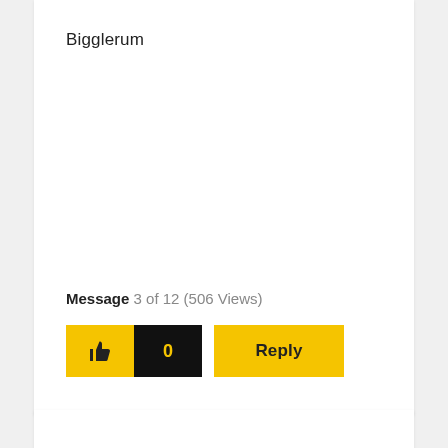Bigglerum
Message 3 of 12 (506 Views)
[Figure (illustration): Like button (thumbs up icon) in yellow, like count '0' in black background, and Reply button in yellow]